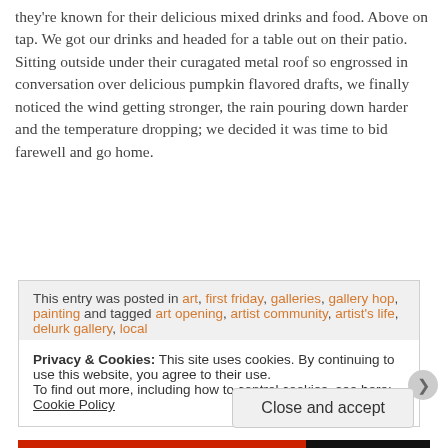they're known for their delicious mixed drinks and food. Above on tap. We got our drinks and headed for a table out on their patio. Sitting outside under their curagated metal roof so engrossed in conversation over delicious pumpkin flavored drafts, we finally noticed the wind getting stronger, the rain pouring down harder and the temperature dropping; we decided it was time to bid farewell and go home.
This entry was posted in art, first friday, galleries, gallery hop, painting and tagged art opening, artist community, artist's life, delurk gallery, local.
Privacy & Cookies: This site uses cookies. By continuing to use this website, you agree to their use. To find out more, including how to control cookies, see here: Cookie Policy